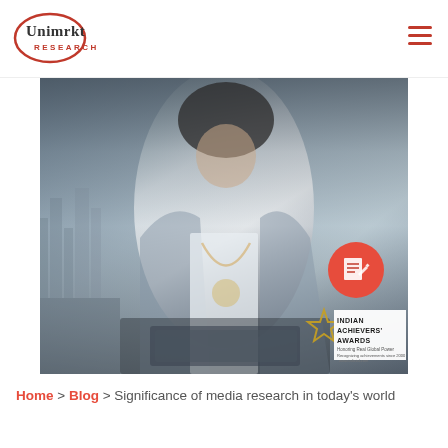[Figure (logo): Unimrkt Research logo — oval red outline with text 'Unimrkt RESEARCH']
[Figure (photo): Hero photo: professional woman in blazer with necklace working on laptop, overlaid with cityscape double exposure in blue-grey tones. Red circle icon with document/pen symbol in upper right area. Indian Achievers Awards gold star badge bottom right.]
Home > Blog > Significance of media research in today's world